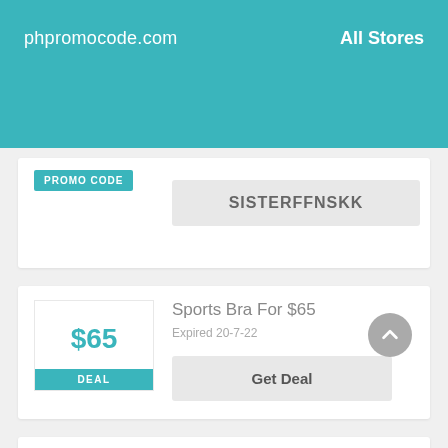phpromocode.com   All Stores
PROMO CODE
SISTERFFNSKK
Sports Bra For $65
Expired 20-7-22
$65
DEAL
Get Deal